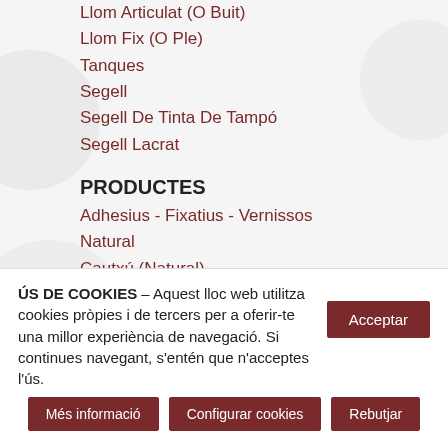Llom Articulat (O Buit)
Llom Fix (O Ple)
Tanques
Segell
Segell De Tinta De Tampó
Segell Lacrat
PRODUCTES
Adhesius - Fixatius - Vernissos
Natural
Cautxú (Natural)
Engrut (Midó De Blat)
Goma Laca
Sintètic
Cautxú (Sintètic)
Filmoplast®
Kheel
ÚS DE COOKIES – Aquest lloc web utilitza cookies pròpies i de tercers per a oferir-te una millor experiència de navegació. Si continues navegant, s'entén que n'acceptes l'ús.
Acceptar
Més informació
Configurar cookies
Rebutjar